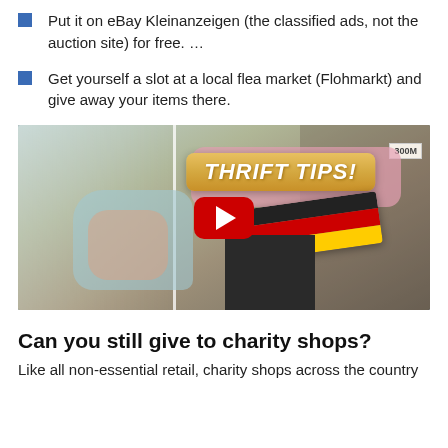Put it on eBay Kleinanzeigen (the classified ads, not the auction site) for free. …
Get yourself a slot at a local flea market (Flohmarkt) and give away your items there.
[Figure (screenshot): YouTube video thumbnail showing a woman holding clothes at a thrift shop with 'THRIFT TIPS!' text overlay, a German flag ribbon, and a red YouTube play button in the center.]
Can you still give to charity shops?
Like all non-essential retail, charity shops across the country